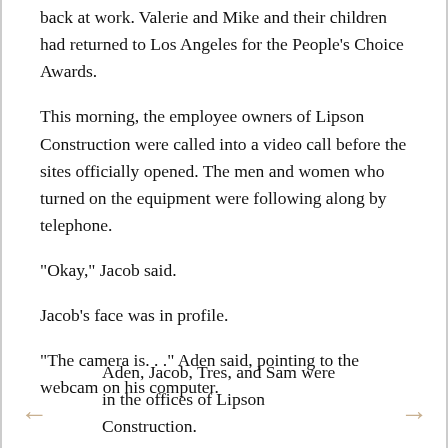back at work. Valerie and Mike and their children had returned to Los Angeles for the People’s Choice Awards.
This morning, the employee owners of Lipson Construction were called into a video call before the sites officially opened. The men and women who turned on the equipment were following along by telephone.
“Okay,” Jacob said.
Jacob’s face was in profile.
“The camera is. . .” Aden said, pointing to the webcam on his computer.
Aden, Jacob, Tres, and Sam were in the offices of Lipson Construction.